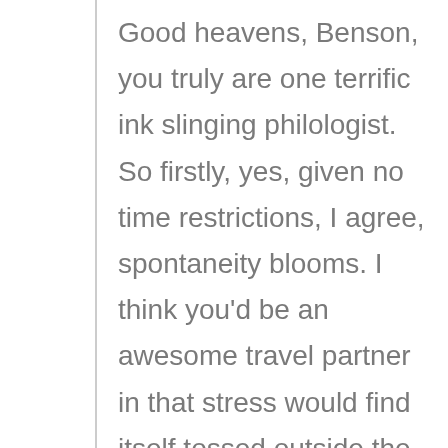Good heavens, Benson, you truly are one terrific ink slinging philologist. So firstly, yes, given no time restrictions, I agree, spontaneity blooms. I think you'd be an awesome travel partner in that stress would find itself tossed outside the car window along with all alarm clocks.